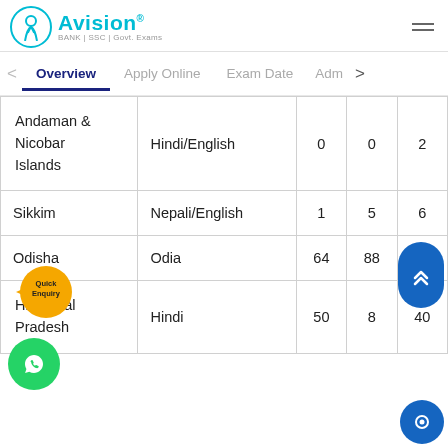Avision BANK|SSC|Govt. Exams
Overview | Apply Online | Exam Date | Adm
| State/UT | Language | Col1 | Col2 | Col3 |
| --- | --- | --- | --- | --- |
| Andaman & Nicobar Islands | Hindi/English | 0 | 0 | 2 |
| Sikkim | Nepali/English | 1 | 5 | 6 |
| Odisha | Odia | 64 | 88 | 48 |
| Himachal Pradesh | Hindi | 50 | 8 | 40 |